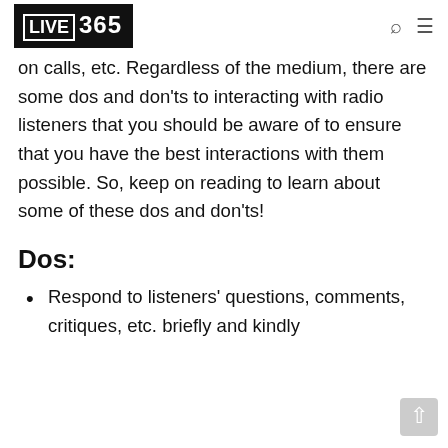LIVE 365
on calls, etc. Regardless of the medium, there are some dos and don'ts to interacting with radio listeners that you should be aware of to ensure that you have the best interactions with them possible. So, keep on reading to learn about some of these dos and don'ts!
Dos:
Respond to listeners' questions, comments, critiques, etc. briefly and kindly